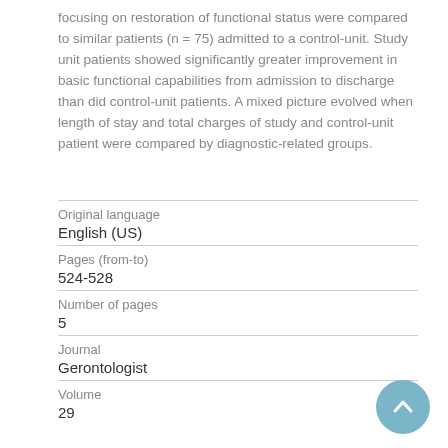focusing on restoration of functional status were compared to similar patients (n = 75) admitted to a control-unit. Study unit patients showed significantly greater improvement in basic functional capabilities from admission to discharge than did control-unit patients. A mixed picture evolved when length of stay and total charges of study and control-unit patient were compared by diagnostic-related groups.
| Original language | English (US) |
| Pages (from-to) | 524-528 |
| Number of pages | 5 |
| Journal | Gerontologist |
| Volume | 29 |